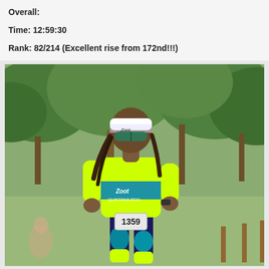Overall:
Time: 12:59:30
Rank: 82/214 (Excellent rise from 172nd!!!)
[Figure (photo): A triathlete wearing bib number 1359, dressed in a Team Zoot / Quintana Roo neon yellow and blue trisuit, white visor, and sunglasses, running outdoors with green trees in the background.]